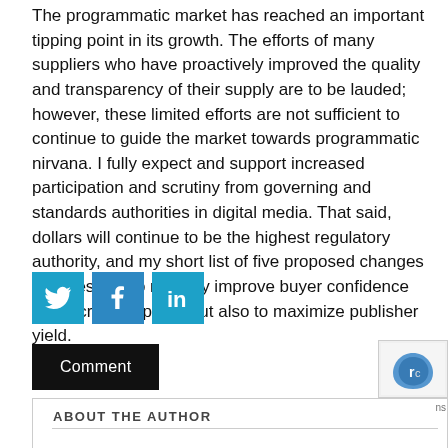The programmatic market has reached an important tipping point in its growth. The efforts of many suppliers who have proactively improved the quality and transparency of their supply are to be lauded; however, these limited efforts are not sufficient to continue to guide the market towards programmatic nirvana. I fully expect and support increased participation and scrutiny from governing and standards authorities in digital media. That said, dollars will continue to be the highest regulatory authority, and my short list of five proposed changes is necessary to not only improve buyer confidence and increase spend, but also to maximize publisher yield.
[Figure (infographic): Three social media share buttons: Twitter (bird icon, teal), Facebook (f icon, blue), LinkedIn (in icon, teal)]
Comment
ABOUT THE AUTHOR